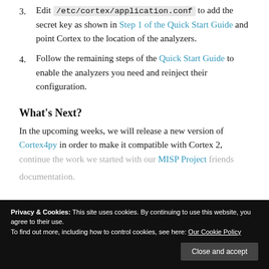3. Edit /etc/cortex/application.conf to add the secret key as shown in Step 1 of the Quick Start Guide and point Cortex to the location of the analyzers.
4. Follow the remaining steps of the Quick Start Guide to enable the analyzers you need and reinject their configuration.
What's Next?
In the upcoming weeks, we will release a new version of Cortex4py in order to make it compatible with Cortex 2, continue the work we started with our MISP Project friends documentation.
Privacy & Cookies: This site uses cookies. By continuing to use this website, you agree to their use. To find out more, including how to control cookies, see here: Our Cookie Policy
Close and accept